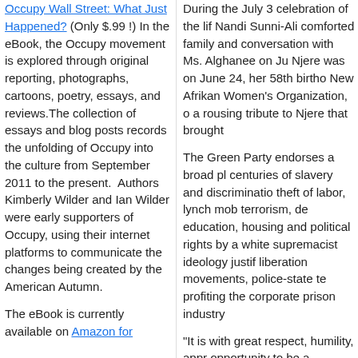Occupy Wall Street: What Just Happened? (Only $.99 !) In the eBook, the Occupy movement is explored through original reporting, photographs, cartoons, poetry, essays, and reviews.The collection of essays and blog posts records the unfolding of Occupy into the culture from September 2011 to the present.  Authors Kimberly Wilder and Ian Wilder were early supporters of Occupy, using their internet platforms to communicate the changes being created by the American Autumn.
The eBook is currently available on Amazon for
During the July 3 celebration of the life of Nandi Sunni-Ali comforted family and... conversation with Ms. Alghanee on Ju... Njere was on June 24, her 58th birtho... New Afrikan Women's Organization, o... a rousing tribute to Njere that brought...
The Green Party endorses a broad pl... centuries of slavery and discriminatio... theft of labor, lynch mob terrorism, de... education, housing and political rights... by a white supremacist ideology justif... liberation movements, police-state te... profiting the corporate prison industry...
"It is with great respect, humility, appr... opportunity to be a member of N'COB... our beloved Revolutionary Warrior, Si... the Green Party Black Caucus are de... up the legacy of Sister Queen Njere A... Now!" said Morgan Moss Jr., treasure... Party Black Caucus (http://www.gp.or...
"Sister Njere Alghanee's work on repa... contemporary Black women such as ... chairperson for the South Africa TRC...